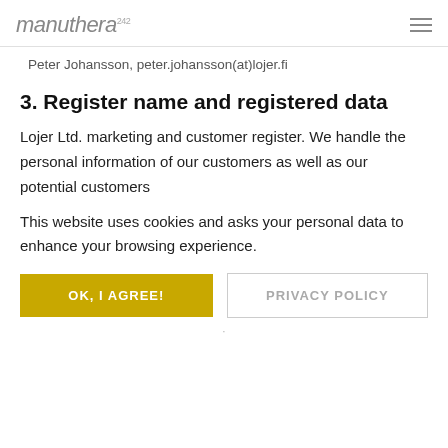manuthera 242
Peter Johansson, peter.johansson(at)lojer.fi
3. Register name and registered data
Lojer Ltd. marketing and customer register. We handle the personal information of our customers as well as our potential customers
This website uses cookies and asks your personal data to enhance your browsing experience.
OK, I AGREE!
PRIVACY POLICY